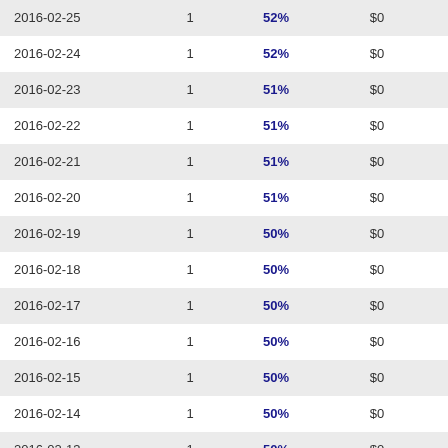| 2016-02-25 | 1 | 52% | $0 | -- |
| 2016-02-24 | 1 | 52% | $0 | -- |
| 2016-02-23 | 1 | 51% | $0 | -- |
| 2016-02-22 | 1 | 51% | $0 | -- |
| 2016-02-21 | 1 | 51% | $0 | -- |
| 2016-02-20 | 1 | 51% | $0 | -- |
| 2016-02-19 | 1 | 50% | $0 | -- |
| 2016-02-18 | 1 | 50% | $0 | -- |
| 2016-02-17 | 1 | 50% | $0 | -- |
| 2016-02-16 | 1 | 50% | $0 | -- |
| 2016-02-15 | 1 | 50% | $0 | -- |
| 2016-02-14 | 1 | 50% | $0 | -- |
| 2016-02-13 | 1 | 50% | $0 | -- |
| 2016-02-12 | 1 | 50% | $0 | -- |
| 2016-02-11 | 1 | 50% | $0 | -- |
| 2016-02-10 | 1 | 50% | $0 | -- |